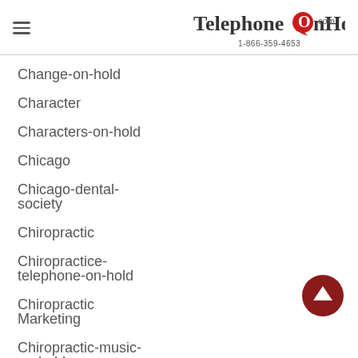TelephoneOnHold.com 1-866-359-4653
Change-on-hold
Character
Characters-on-hold
Chicago
Chicago-dental-society
Chiropractic
Chiropractive-telephone-on-hold
Chiropractic Marketing
Chiropractic-music-on-hold
[Figure (other): Back to top button - dark red circular arrow up icon]